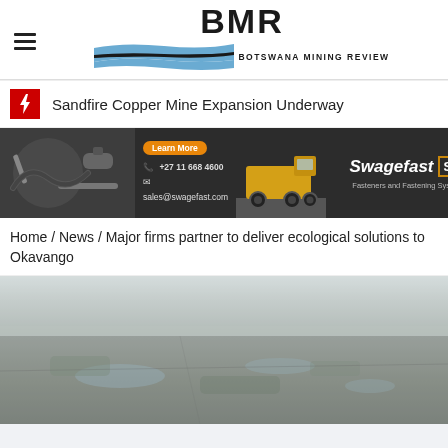BMR BOTSWANA MINING REVIEW
Sandfire Copper Mine Expansion Underway
[Figure (photo): Swagefast advertisement banner showing industrial tools/equipment on left, Learn More button, contact details (+27 11 668 4600, sales@swagefast.com), yellow mining truck, and Swagefast SF Fasteners and Fastening Systems branding on right]
Home / News / Major firms partner to deliver ecological solutions to Okavango
[Figure (photo): Aerial photograph of the Okavango Delta region showing flat landscape with water features and vegetation, hazy sky]